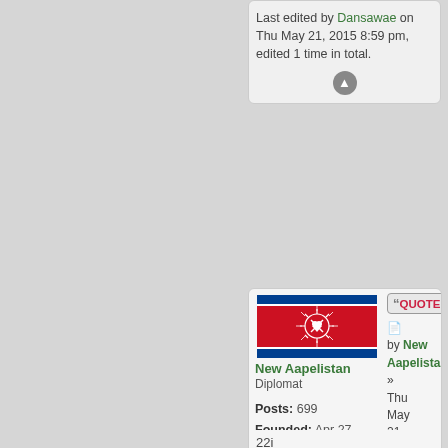Last edited by Dansawae on Thu May 21, 2015 8:59 pm, edited 1 time in total.
[Figure (illustration): Flag of New Aapelistan - red background with blue stripes top and bottom, white emblem in center]
New Aapelistan
Diplomat

Posts: 699
Founded: Apr 27, 2015
Democratic Socialists
QUOTE
by New Aapelistan »
Thu May 21, 2015 9:07 pm

22i of Ma